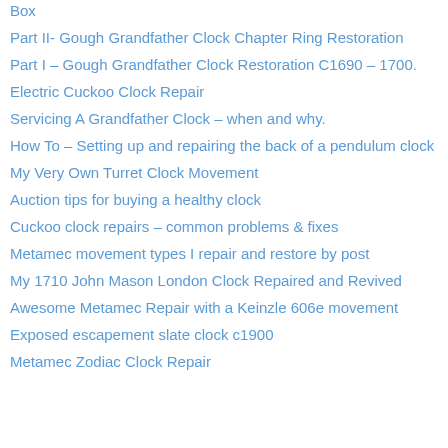Box
Part II- Gough Grandfather Clock Chapter Ring Restoration
Part I – Gough Grandfather Clock Restoration C1690 – 1700.
Electric Cuckoo Clock Repair
Servicing A Grandfather Clock – when and why.
How To – Setting up and repairing the back of a pendulum clock
My Very Own Turret Clock Movement
Auction tips for buying a healthy clock
Cuckoo clock repairs – common problems & fixes
Metamec movement types I repair and restore by post
My 1710 John Mason London Clock Repaired and Revived
Awesome Metamec Repair with a Keinzle 606e movement
Exposed escapement slate clock c1900
Metamec Zodiac Clock Repair